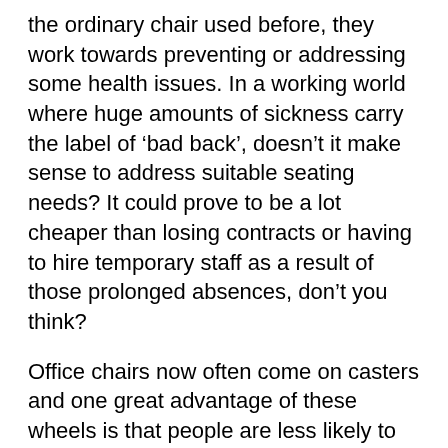the ordinary chair used before, they work towards preventing or addressing some health issues. In a working world where huge amounts of sickness carry the label of 'bad back', doesn't it make sense to address suitable seating needs? It could prove to be a lot cheaper than losing contracts or having to hire temporary staff as a result of those prolonged absences, don't you think?
Office chairs now often come on casters and one great advantage of these wheels is that people are less likely to use the chairs as stepladders. Today's working environment is one of risk assessments, assessing hazards and trying to make employees take responsibility for their own health, rather than letting it fall on the shoulders of the unsuspecting employer, who can't be around all the time.
Comfort when working is so important. If you've ever had to sit on a bus for a long journey, you'll know just how uncomfortable prolonged sitting can be. Many employees sit